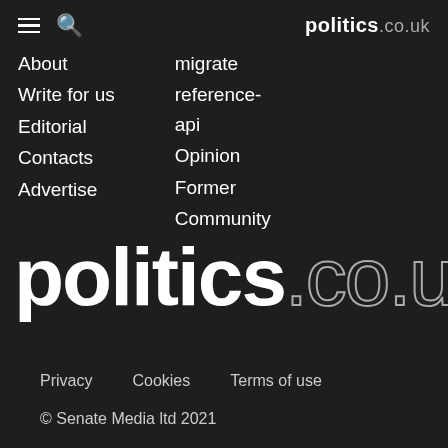politics.co.uk
About
Write for us
Editorial
Contacts
Advertise
migrate
reference-api
Opinion
Former
Community
politics.co.uk
Privacy   Cookies   Terms of use
© Senate Media ltd 2021